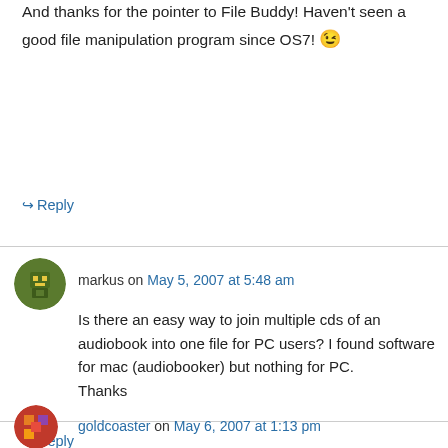And thanks for the pointer to File Buddy! Haven't seen a good file manipulation program since OS7! 😉
↪ Reply
markus on May 5, 2007 at 5:48 am
Is there an easy way to join multiple cds of an audiobook into one file for PC users? I found software for mac (audiobooker) but nothing for PC.
Thanks
↪ Reply
goldcoaster on May 6, 2007 at 1:13 pm